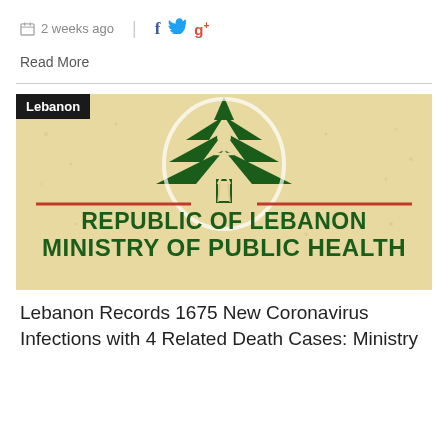2 weeks ago
Read More
[Figure (logo): Republic of Lebanon Ministry of Public Health official logo on beige/tan background. Features a cedar tree with a human figure. Text reads REPUBLIC OF LEBANON MINISTRY OF PUBLIC HEALTH. Category badge: Lebanon.]
Lebanon Records 1675 New Coronavirus Infections with 4 Related Death Cases: Ministry